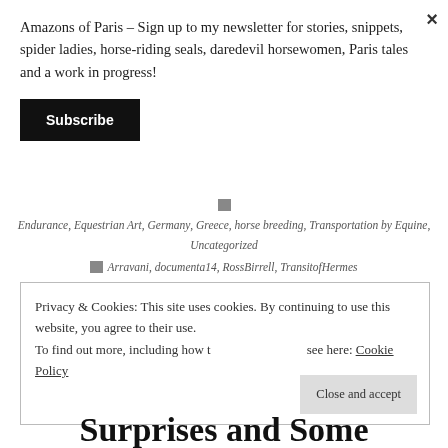Amazons of Paris – Sign up to my newsletter for stories, snippets, spider ladies, horse-riding seals, daredevil horsewomen, Paris tales and a work in progress!
Subscribe
×
Endurance, Equestrian Art, Germany, Greece, horse breeding, Transportation by Equine, Uncategorized
Arravani, documenta14, RossBirrell, TransitofHermes
Leave a comment
Privacy & Cookies: This site uses cookies. By continuing to use this website, you agree to their use.
To find out more, including how to control cookies, see here: Cookie Policy
Close and accept
Surprises and Some